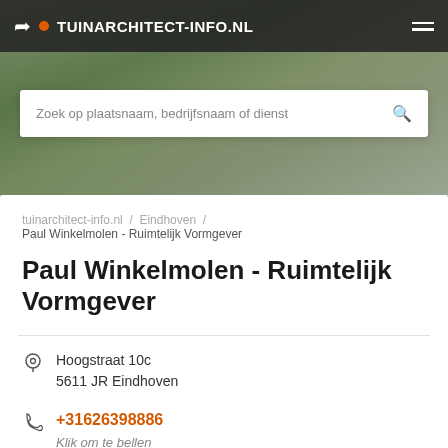TUINARCHITECT-INFO.NL
[Figure (photo): Background photo of garden/greenhouse area with green shrubs and glass roof structure]
Zoek op plaatsnaam, bedrijfsnaam of dienst
tuinarchitect-info.nl / Eindhoven / Paul Winkelmolen - Ruimtelijk Vormgever
Paul Winkelmolen - Ruimtelijk Vormgever
Hoogstraat 10c
5611 JR Eindhoven
+31626398886
Klik om te bellen